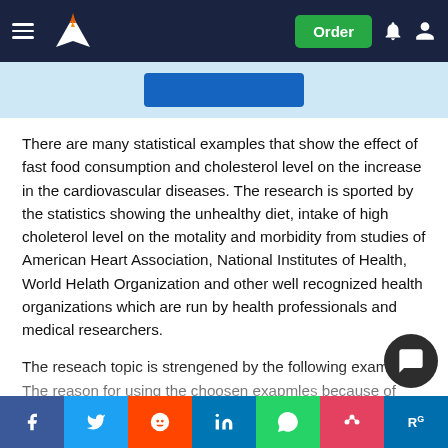Navigation bar with logo, hamburger menu, Order button, notification and user icons
[Figure (screenshot): Blue banner strip with a blue button in the center]
There are many statistical examples that show the effect of fast food consumption and cholesterol level on the increase in the cardiovascular diseases. The research is sported by the statistics showing the unhealthy diet, intake of high choleterol level on the motality and morbidity from studies of American Heart Association, National Institutes of Health, World Helath Organization and other well recognized health organizations which are run by health professionals and medical researchers.
The reseach topic is strengened by the following examples. The reason for using the choosen exapmles because of their credibility. The examples are taken from the study thats well recognized in academic circles.
[Figure (screenshot): Social sharing bar with Facebook, Twitter, Reddit, LinkedIn, WhatsApp, Mix, and ResearchGate buttons]